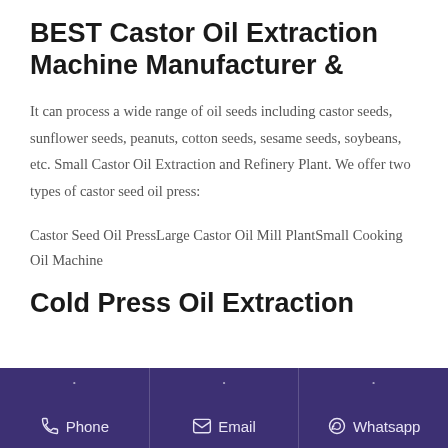BEST Castor Oil Extraction Machine Manufacturer &
It can process a wide range of oil seeds including castor seeds, sunflower seeds, peanuts, cotton seeds, sesame seeds, soybeans, etc. Small Castor Oil Extraction and Refinery Plant. We offer two types of castor seed oil press:
Castor Seed Oil PressLarge Castor Oil Mill PlantSmall Cooking Oil Machine
Cold Press Oil Extraction
Phone  Email  Whatsapp